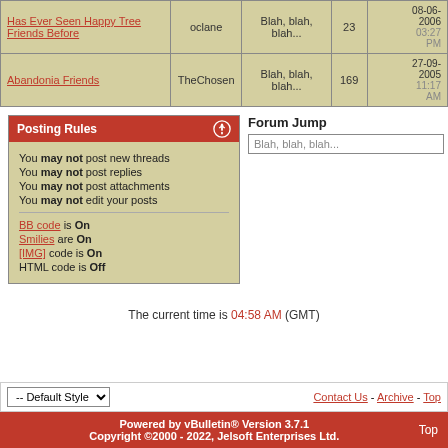| Thread | Author | Last Post | Replies | Last Post Date |
| --- | --- | --- | --- | --- |
| Has Ever Seen Happy Tree Friends Before | oclane | Blah, blah, blah... | 23 | 08-06-2006 03:27 PM |
| Abandonia Friends | TheChosen | Blah, blah, blah... | 169 | 27-09-2005 11:17 AM |
Posting Rules
You may not post new threads
You may not post replies
You may not post attachments
You may not edit your posts
BB code is On
Smilies are On
[IMG] code is On
HTML code is Off
Forum Jump
Blah, blah, blah...
The current time is 04:58 AM (GMT)
-- Default Style
Contact Us - Archive - Top
Powered by vBulletin® Version 3.7.1 Copyright ©2000 - 2022, Jelsoft Enterprises Ltd.